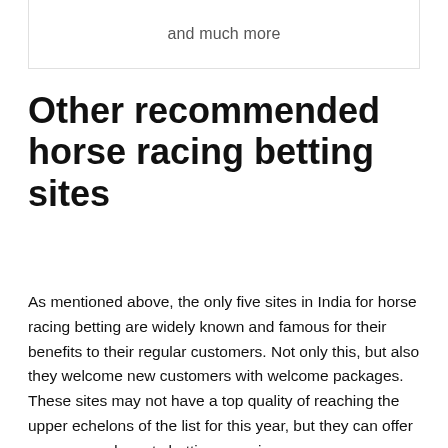and much more
Other recommended horse racing betting sites
As mentioned above, the only five sites in India for horse racing betting are widely known and famous for their benefits to their regular customers. Not only this, but also they welcome new customers with welcome packages. These sites may not have a top quality of reaching the upper echelons of the list for this year, but they can offer users a good sports betting experience.